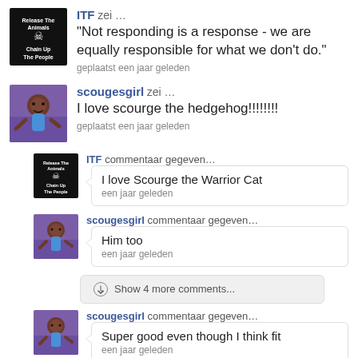[Figure (screenshot): Social media comment feed with user avatars and comments]
ITF zei … "Not responding is a response - we are equally responsible for what we don't do." geplaatst een jaar geleden
scougesgirl zei … I love scourge the hedgehog!!!!!!!! geplaatst een jaar geleden
ITF commentaar gegeven… I love Scourge the Warrior Cat een jaar geleden
scougesgirl commentaar gegeven… Him too een jaar geleden
Show 4 more comments...
scougesgirl commentaar gegeven… Super good even though I think fit een jaar geleden